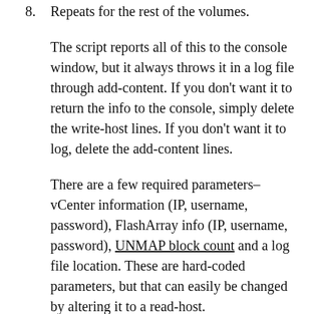8. Repeats for the rest of the volumes.
The script reports all of this to the console window, but it always throws it in a log file through add-content. If you don't want it to return the info to the console, simply delete the write-host lines. If you don't want it to log, delete the add-content lines.
There are a few required parameters–vCenter information (IP, username, password), FlashArray info (IP, username, password), UNMAP block count and a log file location. These are hard-coded parameters, but that can easily be changed by altering it to a read-host.
You may also note that after each UNMAP the script sleeps for 60 seconds–I do this so I make sure the FlashArray has time to update its information right after the UNMAP. 60 seconds is VERY conservative–